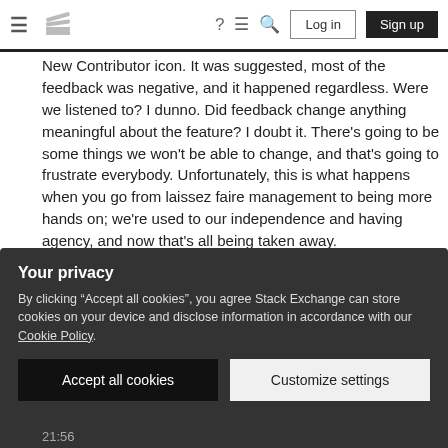Stack Exchange navigation bar with Log in and Sign up buttons
New Contributor icon. It was suggested, most of the feedback was negative, and it happened regardless. Were we listened to? I dunno. Did feedback change anything meaningful about the feature? I doubt it. There’s going to be some things we won’t be able to change, and that’s going to frustrate everybody. Unfortunately, this is what happens when you go from laissez faire management to being more hands on; we’re used to our independence and having agency, and now that’s all being taken away.
– fbueckert Jul 23, 2019 at 21:51
21 @Makoto It sucks to feel like we’re just being ignored or bowled over. Yeah, especially when it’s true. We
Your privacy
By clicking “Accept all cookies”, you agree Stack Exchange can store cookies on your device and disclose information in accordance with our Cookie Policy.
Accept all cookies   Customize settings
21:56